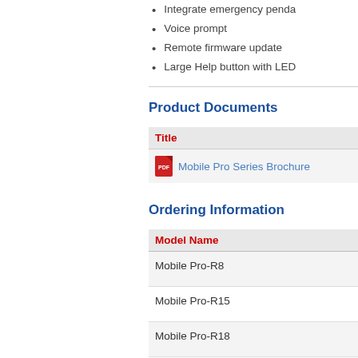Integrate emergency penda
Voice prompt
Remote firmware update
Large Help button with LED
Product Documents
| Title |
| --- |
| Mobile Pro Series Brochure |
Ordering Information
| Model Name |
| --- |
| Mobile Pro-R8 |
| Mobile Pro-R15 |
| Mobile Pro-R18 |